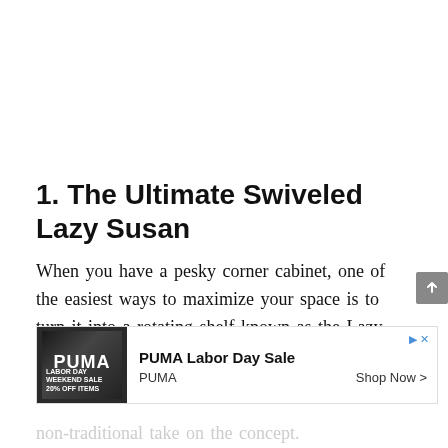1. The Ultimate Swiveled Lazy Susan
When you have a pesky corner cabinet, one of the easiest ways to maximize your space is to turn it into a rotating shelf known as the Lazy Susan. The one shown here, with chrome and detailing, gives it a modern look. Ins... aro... non-traditional take on the concept.
[Figure (other): PUMA Labor Day Sale advertisement banner with image of person wearing Puma gear, showing 'PUMA Labor Day Sale' text, Shop Now button, and Ad label]